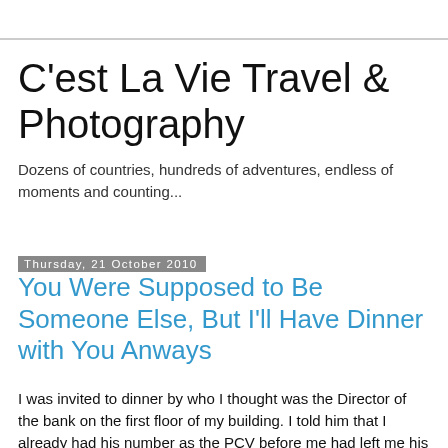C'est La Vie Travel & Photography
Dozens of countries, hundreds of adventures, endless of moments and counting...
Thursday, 21 October 2010
You Were Supposed to Be Someone Else, But I'll Have Dinner with You Anways
I was invited to dinner by who I thought was the Director of the bank on the first floor of my building. I told him that I already had his number as the PCV before me had left me his number in the apartment.